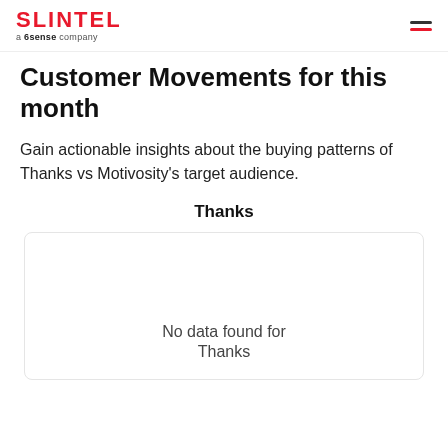SLINTEL a 6sense company
Customer Movements for this month
Gain actionable insights about the buying patterns of Thanks vs Motivosity's target audience.
Thanks
[Figure (other): Empty chart area with border showing no data state]
No data found for Thanks